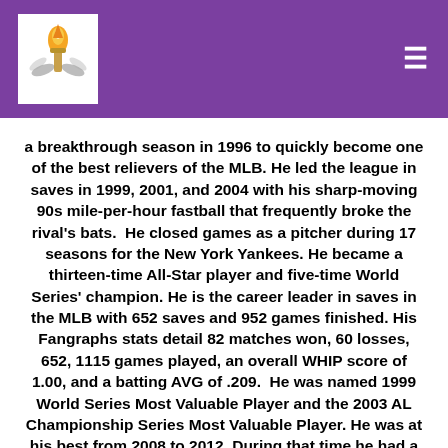[Logo and navigation header]
a breakthrough season in 1996 to quickly become one of the best relievers of the MLB. He led the league in saves in 1999, 2001, and 2004 with his sharp-moving 90s mile-per-hour fastball that frequently broke the rival's bats.  He closed games as a pitcher during 17 seasons for the New York Yankees. He became a thirteen-time All-Star player and five-time World Series' champion. He is the career leader in saves in the MLB with 652 saves and 952 games finished. His Fangraphs stats detail 82 matches won, 60 losses, 652, 1115 games played, an overall WHIP score of 1.00, and a batting AVG of .209.  He was named 1999 World Series Most Valuable Player and the 2003 AL Championship Series Most Valuable Player. He was at his best from 2008 to 2012. During that time he had a three-year